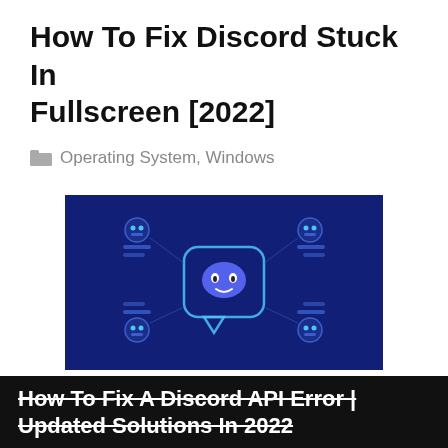How To Fix Discord Stuck In Fullscreen [2022]
Operating System, Windows
[Figure (illustration): Dark blue banner image showing the Discord logo (a smiling ghost/controller face in a speech bubble) centered, surrounded by four small robot/user icons at the corners connected by lines, all on a deep blue background.]
How To Fix A Discord API Error | Updated Solutions In 2022